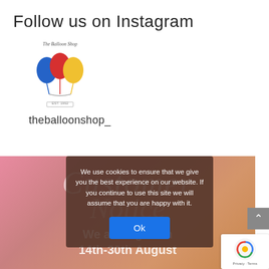Follow us on Instagram
[Figure (logo): The Balloon Shop logo with colorful balloons (blue, red, yellow) and text 'The Balloon Shop']
theballoonshop_
[Figure (screenshot): Colorful pink-to-orange gradient background with cursive text 'Customer Notice' overlaid, and white bold text 'We are cl...g from 14th-30th August' partially visible. A cookie consent popup overlays the image saying 'We use cookies to ensure that we give you the best experience on our website. If you continue to use this site we will assume that you are happy with it.' with an Ok button.]